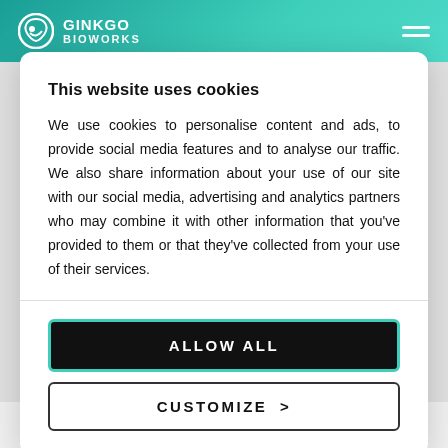GINKGO BIOWORKS
This website uses cookies
We use cookies to personalise content and ads, to provide social media features and to analyse our traffic. We also share information about your use of our site with our social media, advertising and analytics partners who may combine it with other information that you've provided to them or that they've collected from your use of their services.
ALLOW ALL
CUSTOMIZE >
#!/usr/bin/env python3